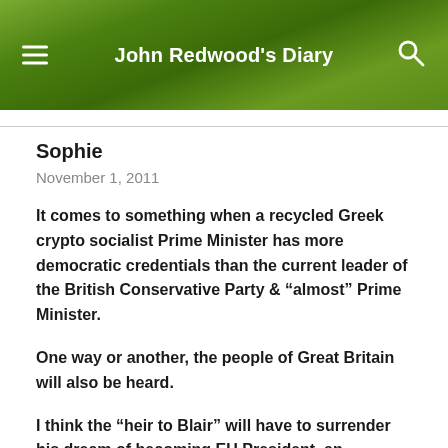John Redwood's Diary
Sophie
November 1, 2011
It comes to something when a recycled Greek crypto socialist Prime Minister has more democratic credentials than the current leader of the British Conservative Party & “almost” Prime Minister.
One way or another, the people of Great Britain will also be heard.
I think the “heir to Blair” will have to surrender his dream of becoming EU President, an achievement his hero & mentor Blair could not crowbar himself into.